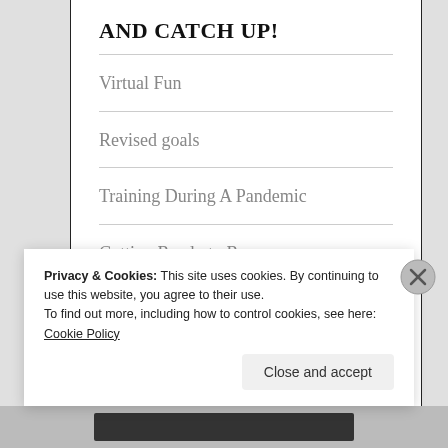AND CATCH UP!
Virtual Fun
Revised goals
Training During A Pandemic
Getting Ready to Run
Silver Linings
Privacy & Cookies: This site uses cookies. By continuing to use this website, you agree to their use.
To find out more, including how to control cookies, see here: Cookie Policy
Close and accept